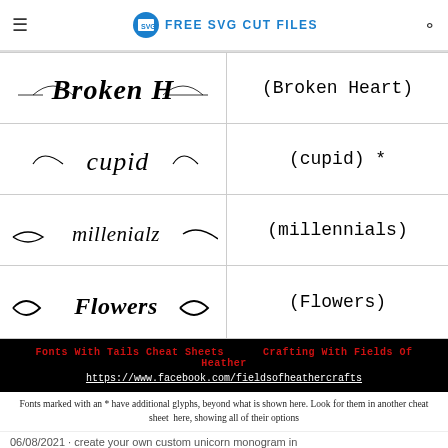FREE SVG CUT FILES
[Figure (illustration): Script font sample: Broken H (Broken Heart) decorative text with swashes]
(Broken Heart)
[Figure (illustration): Script font sample: cupid decorative text with swashes]
(cupid) *
[Figure (illustration): Script font sample: millenialz decorative text with swashes]
(millennials)
[Figure (illustration): Script font sample: Flowers decorative text with swashes]
(Flowers)
Fonts With Tails Cheat Sheets   Crafting With Fields Of Heather
https://www.facebook.com/fieldsofheathercrafts
Fonts marked with an * have additional glyphs, beyond what is shown here. Look for them in another cheat sheet here, showing all of their options
06/08/2021 · create your own custom unicorn monogram in